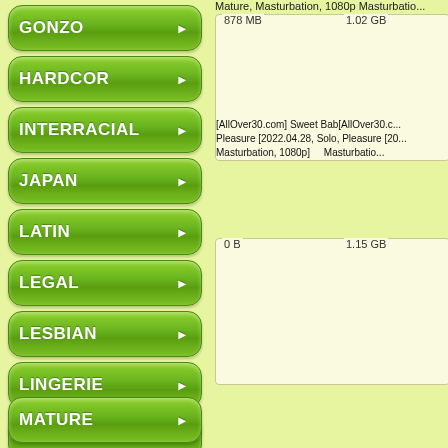GONZO
HARDCOR
INTERRACIAL
JAPAN
LATIN
LEGAL
LESBIAN
LINGERIE
MASTURBAT
MATURE
Mature, Masturbation, 1080p Masturbatio...
878 MB    1.02 GB
[AllOver30.com] Sweet Bab... [AllOver30.c... Pleasure [2022.04.28, Solo, Pleasure [20... Masturbation, 1080p]    Masturbatio...
0 B    1.15 GB